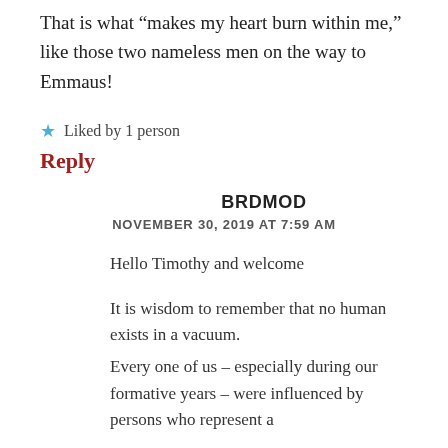That is what “makes my heart burn within me,” like those two nameless men on the way to Emmaus!
★ Liked by 1 person
Reply
BRDMOD
NOVEMBER 30, 2019 AT 7:59 AM
Hello Timothy and welcome
It is wisdom to remember that no human exists in a vacuum.
Every one of us – especially during our formative years – were influenced by persons who represent a